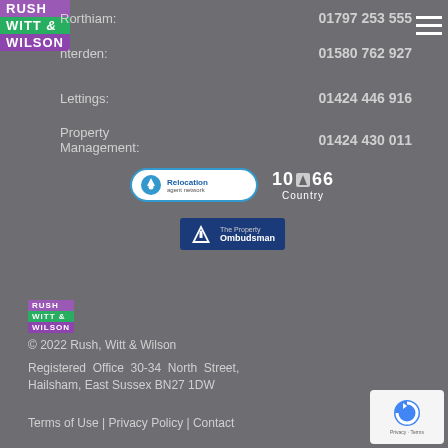[Figure (logo): Rush Witt & Wilson logo with purple, green and purple blocks]
Rorthiam: 01797 253 555
nterden: 01580 762 927
Lettings: 01424 446 916
Property Management: 01424 430 011
[Figure (logo): Relocation agent network badge - circular blue border with house icon]
[Figure (logo): 1066 Country badge with shield icon]
[Figure (logo): The Property Ombudsman badge - dark blue with triangle logo]
[Figure (logo): Rush Witt & Wilson small footer logo]
© 2022 Rush, Witt & Wilson
Registered Office  30-34 North Street, Hailsham, East Sussex BN27 1DW
Terms of Use | Privacy Policy | Contact
[Figure (other): Google reCAPTCHA badge with Privacy - Terms text]